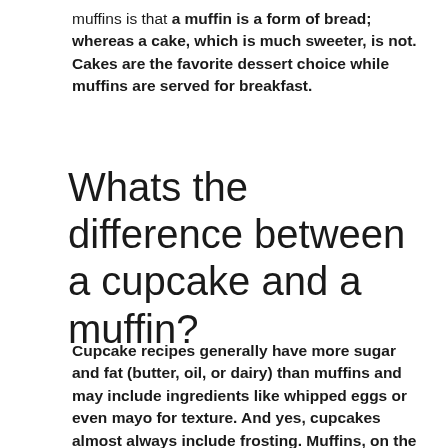muffins is that a muffin is a form of bread; whereas a cake, which is much sweeter, is not. Cakes are the favorite dessert choice while muffins are served for breakfast.
Whats the difference between a cupcake and a muffin?
Cupcake recipes generally have more sugar and fat (butter, oil, or dairy) than muffins and may include ingredients like whipped eggs or even mayo for texture. And yes, cupcakes almost always include frosting. Muffins, on the